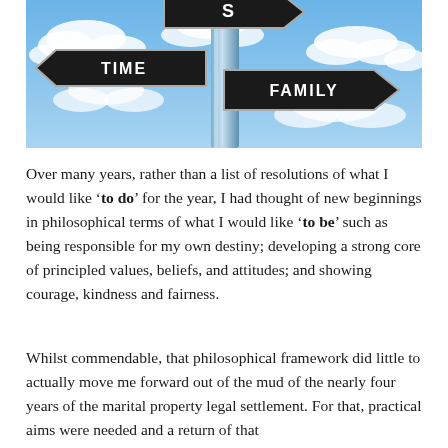[Figure (photo): A street signpost against a blue sky with clouds, showing directional signs labeled 'TIME', 'FAMILY', and a partially visible sign at the top. The pole is metallic blue/silver.]
Over many years, rather than a list of resolutions of what I would like 'to do' for the year, I had thought of new beginnings in philosophical terms of what I would like 'to be' such as being responsible for my own destiny; developing a strong core of principled values, beliefs, and attitudes; and showing courage, kindness and fairness.
Whilst commendable, that philosophical framework did little to actually move me forward out of the mud of the nearly four years of the marital property legal settlement. For that, practical aims were needed and a return of that